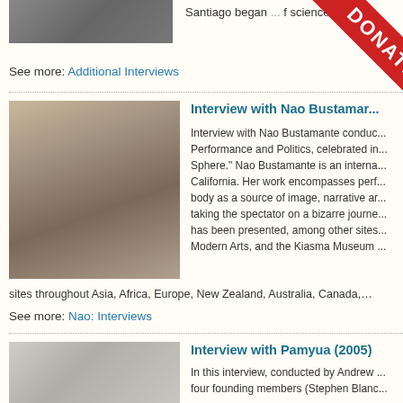[Figure (photo): Top thumbnail photo of a person]
Santiago began ... of science an
See more: Additional Interviews
[Figure (photo): Portrait photo of Nao Bustamante, a woman with blonde hair and sunglasses, wearing a blue hoodie, arms crossed, smiling]
Interview with Nao Bustamante
Interview with Nao Bustamante conducted ... Performance and Politics, celebrated in ... Sphere." Nao Bustamante is an internationally based in California. Her work encompasses performance, taking the body as a source of image, narrative and ... taking the spectator on a bizarre journey ... has been presented, among other sites ... Modern Arts, and the Kiasma Museum ... sites throughout Asia, Africa, Europe, New Zealand, Australia, Canada,…
See more: Nao: Interviews
[Figure (photo): Group photo of four people sitting, presumably Pamyua members]
Interview with Pamyua (2005)
In this interview, conducted by Andrew ... four founding members (Stephen Blanco ...